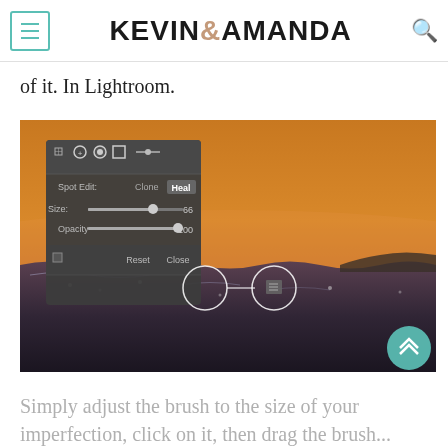KEVIN & AMANDA
of it. In Lightroom.
[Figure (screenshot): Lightroom Spot Edit/Heal tool panel screenshot showing a dark sky ocean sunset photo with Spot Edit panel open, Size 66, Opacity 100, with Heal selected. Two circular selection handles visible over the image.]
Simply adjust the brush to the size of your imperfection, click on it, then drag the brush...